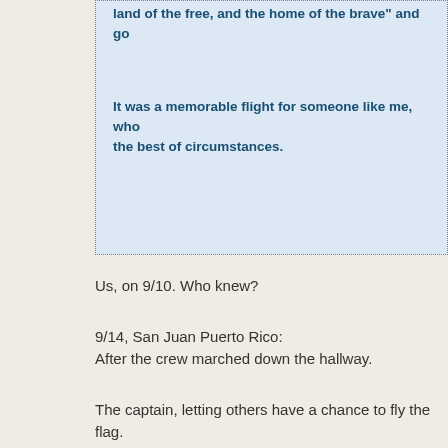land of the free, and the home of the brave" and go
It was a memorable flight for someone like me, who the best of circumstances.
Us, on 9/10. Who knew?
9/14, San Juan Puerto Rico:
After the crew marched down the hallway.
The captain, letting others have a chance to fly the flag.
This young woman lead us onto the plane.